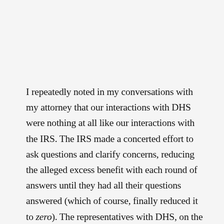I repeatedly noted in my conversations with my attorney that our interactions with DHS were nothing at all like our interactions with the IRS. The IRS made a concerted effort to ask questions and clarify concerns, reducing the alleged excess benefit with each round of answers until they had all their questions answered (which of course, finally reduced it to zero). The representatives with DHS, on the other hand, have been obstructionist and adversarial from